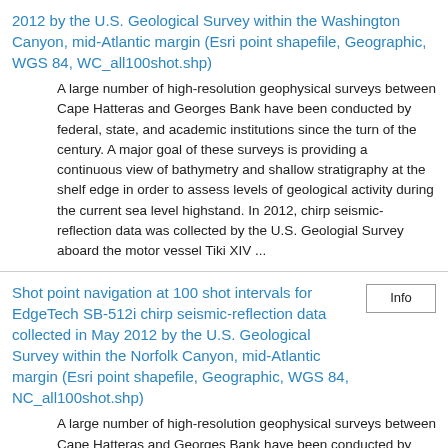2012 by the U.S. Geological Survey within the Washington Canyon, mid-Atlantic margin (Esri point shapefile, Geographic, WGS 84, WC_all100shot.shp)
A large number of high-resolution geophysical surveys between Cape Hatteras and Georges Bank have been conducted by federal, state, and academic institutions since the turn of the century. A major goal of these surveys is providing a continuous view of bathymetry and shallow stratigraphy at the shelf edge in order to assess levels of geological activity during the current sea level highstand. In 2012, chirp seismic-reflection data was collected by the U.S. Geologial Survey aboard the motor vessel Tiki XIV ...
Shot point navigation at 100 shot intervals for EdgeTech SB-512i chirp seismic-reflection data collected in May 2012 by the U.S. Geological Survey within the Norfolk Canyon, mid-Atlantic margin (Esri point shapefile, Geographic, WGS 84, NC_all100shot.shp)
A large number of high-resolution geophysical surveys between Cape Hatteras and Georges Bank have been conducted by federal, state, and academic institutions since the turn of the century. A major goal of these surveys is providing a continuous view of bathymetry and shallow stratigraphy at the shelf edge in order to assess levels of geological activity during the current sea level highstand. In